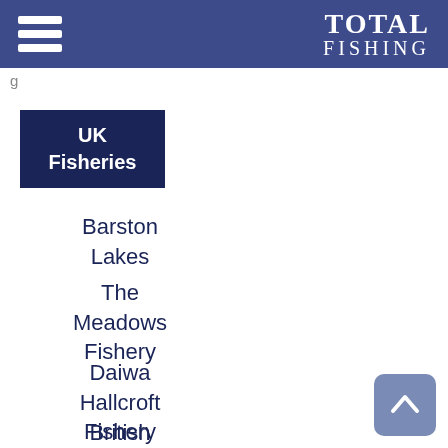TOTAL FISHING
g
UK Fisheries
Barston Lakes
The Meadows Fishery
Daiwa Hallcroft Fishery
British Waterways